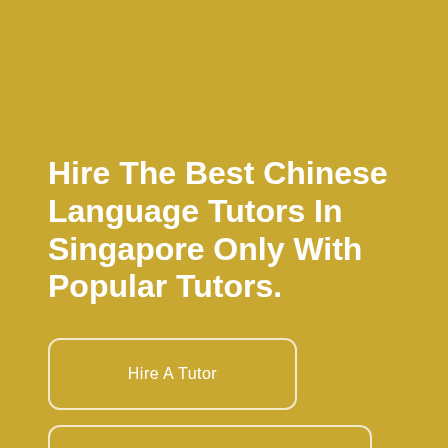Hire The Best Chinese Language Tutors In Singapore Only With Popular Tutors.
Hire A Tutor
Register As A Tutor